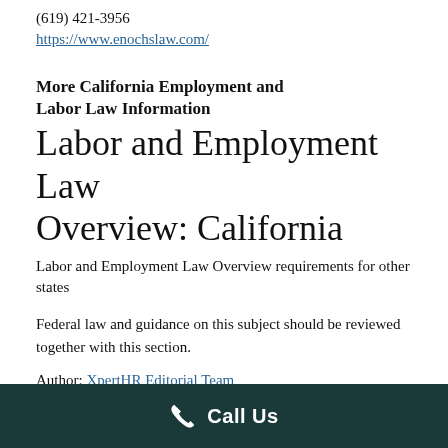(619) 421-3956
https://www.enochslaw.com/
More California Employment and Labor Law Information
Labor and Employment Law Overview: California
Labor and Employment Law Overview requirements for other states
Federal law and guidance on this subject should be reviewed together with this section.
Author: XpertHR Editorial Team
Call Us